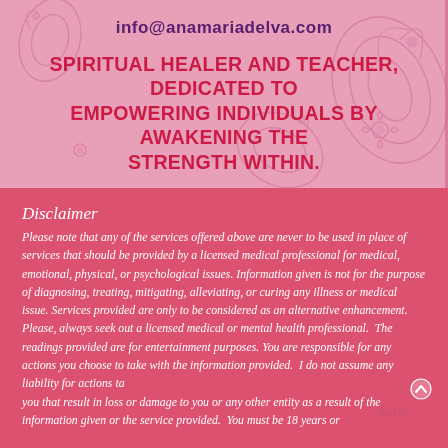info@anamariadelva.com
SPIRITUAL HEALER AND TEACHER, DEDICATED TO EMPOWERING INDIVIDUALS BY AWAKENING THE STRENGTH WITHIN.
Disclaimer
Please note that any of the services offered above are never to be used in place of services that should be provided by a licensed medical professional for medical, emotional, physical, or psychological issues. Information given is not for the purpose of diagnosing, treating, mitigating, alleviating, or curing any illness or medical issue. Services provided are only to be considered as an alternative enhancement. Please, always seek out a licensed medical or mental health professional.  The readings provided are for entertainment purposes. You are responsible for any actions you choose to take with the information provided.  I do not assume any liability for actions taken by you that result in loss or damage to you or any other entity as a result of the information given or the service provided.  You must be 18 years or